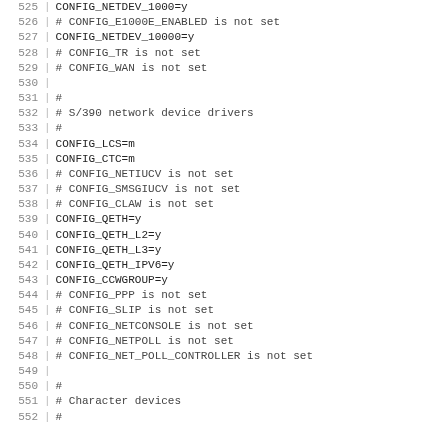525 | CONFIG_NETDEV_1000=y
526 | # CONFIG_E1000E_ENABLED is not set
527 | CONFIG_NETDEV_10000=y
528 | # CONFIG_TR is not set
529 | # CONFIG_WAN is not set
530 |
531 | #
532 | # S/390 network device drivers
533 | #
534 | CONFIG_LCS=m
535 | CONFIG_CTC=m
536 | # CONFIG_NETIUCV is not set
537 | # CONFIG_SMSGIUCV is not set
538 | # CONFIG_CLAW is not set
539 | CONFIG_QETH=y
540 | CONFIG_QETH_L2=y
541 | CONFIG_QETH_L3=y
542 | CONFIG_QETH_IPV6=y
543 | CONFIG_CCWGROUP=y
544 | # CONFIG_PPP is not set
545 | # CONFIG_SLIP is not set
546 | # CONFIG_NETCONSOLE is not set
547 | # CONFIG_NETPOLL is not set
548 | # CONFIG_NET_POLL_CONTROLLER is not set
549 |
550 | #
551 | # Character devices
552 | #